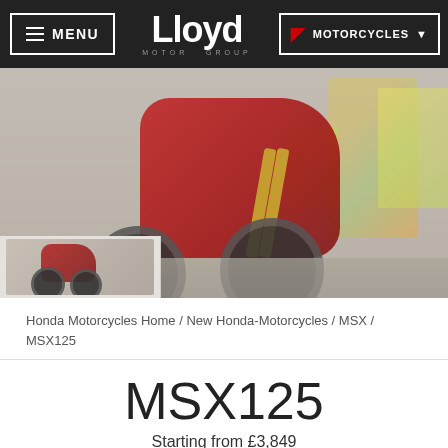MENU | Lloyd Motor Group | MOTORCYCLES
[Figure (photo): Honda MSX125 motorcycle (red) parked against a graffiti wall background. A thumbnail strip is visible at the bottom left showing a smaller image of the bike.]
Honda Motorcycles Home / New Honda-Motorcycles / MSX / MSX125
MSX125
Starting from £3,849
Exude and edgier,